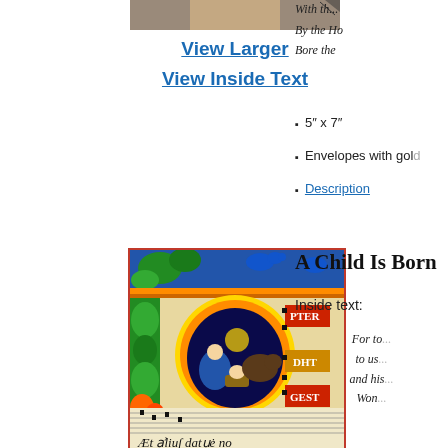[Figure (photo): Partial view of a book or card cover image at the top]
View Larger
View Inside Text
By the H...
Bore th...
5" x 7"
Envelopes with gol...
Description
[Figure (illustration): Illuminated medieval manuscript page with nativity scene in ornate decorated initial letter, surrounded by colorful foliage borders and musical notation. Text at bottom reads: Et filius datus e no]
A Child Is Born
Inside text:
For to...
to us...
and his...
Won...